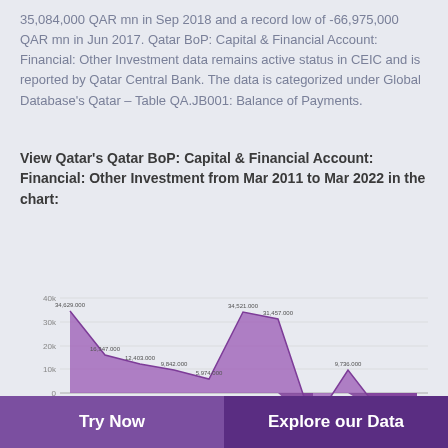35,084,000 QAR mn in Sep 2018 and a record low of -66,975,000 QAR mn in Jun 2017. Qatar BoP: Capital & Financial Account: Financial: Other Investment data remains active status in CEIC and is reported by Qatar Central Bank. The data is categorized under Global Database's Qatar – Table QA.JB001: Balance of Payments.
View Qatar's Qatar BoP: Capital & Financial Account: Financial: Other Investment from Mar 2011 to Mar 2022 in the chart:
[Figure (area-chart): Qatar BoP: Capital & Financial Account: Financial: Other Investment]
Try Now | Explore our Data